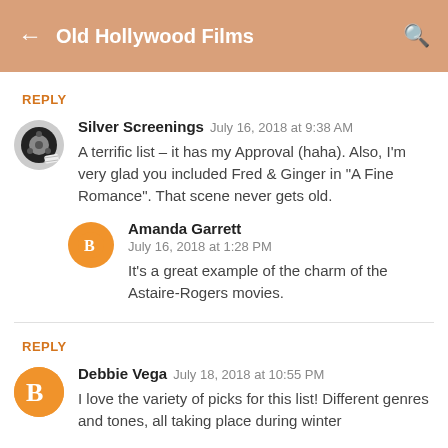Old Hollywood Films
REPLY
Silver Screenings  July 16, 2018 at 9:38 AM
A terrific list – it has my Approval (haha). Also, I'm very glad you included Fred & Ginger in "A Fine Romance". That scene never gets old.
Amanda Garrett
July 16, 2018 at 1:28 PM
It's a great example of the charm of the Astaire-Rogers movies.
REPLY
Debbie Vega  July 18, 2018 at 10:55 PM
I love the variety of picks for this list! Different genres and tones, all taking place during winter